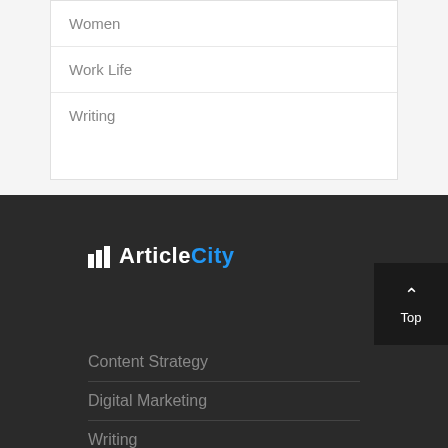Women
Work Life
Writing
[Figure (logo): ArticleCity logo with building icon, 'Article' in white and 'City' in blue]
Content Strategy
Digital Marketing
Writing